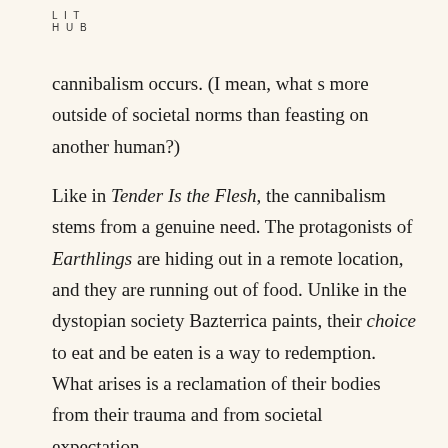L I T
H U B
cannibalism occurs. (I mean, what s more outside of societal norms than feasting on another human?)
Like in Tender Is the Flesh, the cannibalism stems from a genuine need. The protagonists of Earthlings are hiding out in a remote location, and they are running out of food. Unlike in the dystopian society Bazterrica paints, their choice to eat and be eaten is a way to redemption. What arises is a reclamation of their bodies from their trauma and from societal expectation.
After her first taste of human flesh